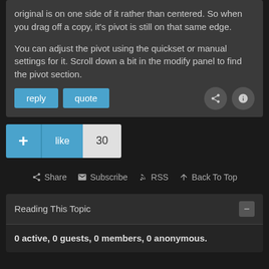original is on one side of it rather than centered. So when you drag off a copy, it's pivot is still on that same edge.
You can adjust the pivot using the quickset or manual settings for it. Scroll down a bit in the modify panel to find the pivot section.
reply   quote
+   like   30
Share   Subscribe   RSS   Back To Top
Reading This Topic
0 active, 0 guests, 0 members, 0 anonymous.